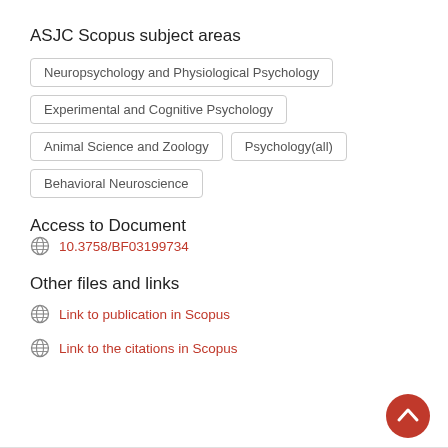ASJC Scopus subject areas
Neuropsychology and Physiological Psychology
Experimental and Cognitive Psychology
Animal Science and Zoology
Psychology(all)
Behavioral Neuroscience
Access to Document
10.3758/BF03199734
Other files and links
Link to publication in Scopus
Link to the citations in Scopus